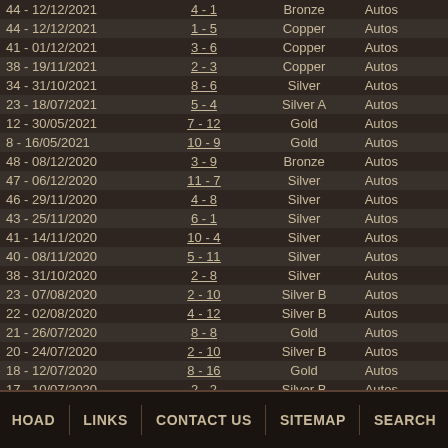| Round - Date | Score | Tier | Type |
| --- | --- | --- | --- |
| 44 - 12/12/2021 | 4 - 1 | Bronze | Autos |
| 44 - 12/12/2021 | 1 - 5 | Copper | Autos |
| 41 - 01/12/2021 | 3 - 6 | Copper | Autos |
| 38 - 19/11/2021 | 2 - 3 | Copper | Autos |
| 34 - 31/10/2021 | 8 - 6 | Silver | Autos |
| 23 - 18/07/2021 | 5 - 4 | Silver A | Autos |
| 12 - 30/05/2021 | 7 - 12 | Gold | Autos |
| 8 - 16/05/2021 | 10 - 9 | Gold | Autos |
| 48 - 08/12/2020 | 3 - 9 | Bronze | Autos |
| 47 - 06/12/2020 | 11 - 7 | Silver | Autos |
| 46 - 29/11/2020 | 4 - 8 | Silver | Autos |
| 43 - 25/11/2020 | 6 - 1 | Silver | Autos |
| 41 - 14/11/2020 | 10 - 4 | Silver | Autos |
| 40 - 08/11/2020 | 5 - 11 | Silver | Autos |
| 38 - 31/10/2020 | 2 - 8 | Silver | Autos |
| 23 - 07/08/2020 | 2 - 10 | Silver B | Autos |
| 22 - 02/08/2020 | 4 - 12 | Silver B | Autos |
| 21 - 26/07/2020 | 8 - 8 | Gold | Autos |
| 20 - 24/07/2020 | 2 - 10 | Silver B | Autos |
| 18 - 12/07/2020 | 8 - 16 | Gold | Autos |
| 17 - 10/07/2020 | 2 - 2 | Silver B | Autos |
HOAD  LINKS  CONTACT US  SITEMAP  SEARCH